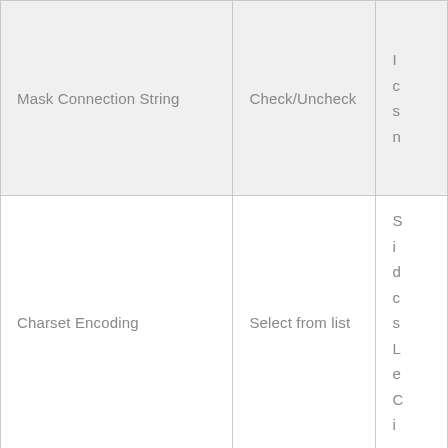|  |  |  |
| --- | --- | --- |
| Mask Connection String | Check/Uncheck | I
c
s
n |
| Charset Encoding | Select from list | S
i
d
c
s
L
e
C
i |